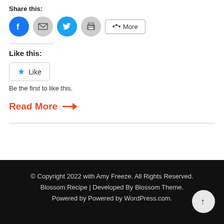Share this:
[Figure (infographic): Social sharing buttons: Facebook (blue circle), Email (grey circle), Twitter (cyan circle), Print (grey circle), and a More button with share icon]
Like this:
[Figure (infographic): Like button with a star icon in teal/cyan color]
Be the first to like this.
Read More →
© Copyright 2022 with Amy Freeze. All Rights Reserved. Blossom Recipe | Developed By Blossom Theme. Powered by Powered by WordPress.com.